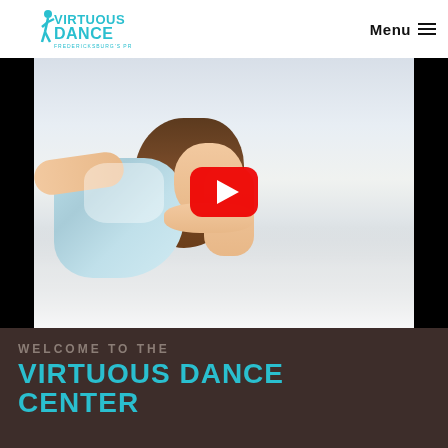Virtuous Dance — Menu
[Figure (photo): YouTube video thumbnail showing a young girl lying on a white floor in a light blue dress, with curly hair, chin resting on hands. A large YouTube play button (red rounded rectangle with white triangle) overlays the center. Black vertical bars frame both sides.]
WELCOME TO THE
VIRTUOUS DANCE CENTER